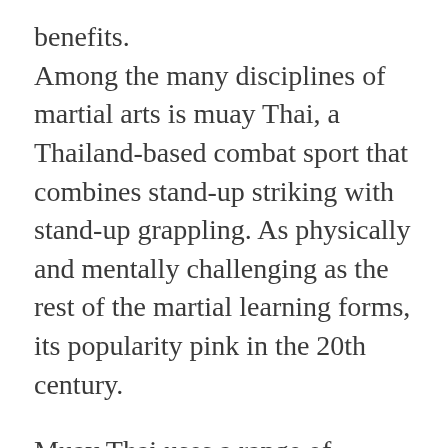benefits. Among the many disciplines of martial arts is muay Thai, a Thailand-based combat sport that combines stand-up striking with stand-up grappling. As physically and mentally challenging as the rest of the martial learning forms, its popularity pink in the 20th century.
Muay Thai uses a range of movements with the limbs. This pact of techniques means students learn how to use their bodies fully. Being a full-contact sport, much emphasis is given to punches and kicks, jabs, hooks, uppercuts, kicking